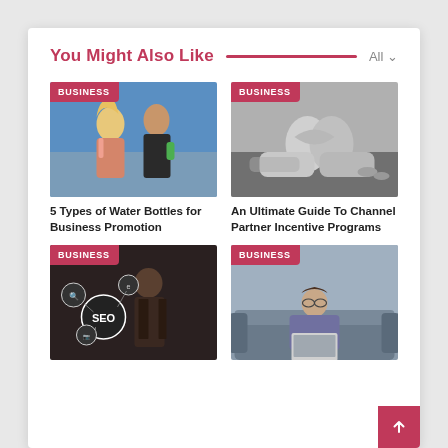You Might Also Like
[Figure (photo): Two fitness people outdoors, one holding a green water bottle, colorful photo with BUSINESS badge]
5 Types of Water Bottles for Business Promotion
[Figure (photo): Two people arm wrestling on a table, black and white photo with BUSINESS badge]
An Ultimate Guide To Channel Partner Incentive Programs
[Figure (photo): Person in suit with SEO icons and digital marketing icons, dark photo with BUSINESS badge]
[Figure (photo): Man sitting on couch with laptop, muted photo with BUSINESS badge]